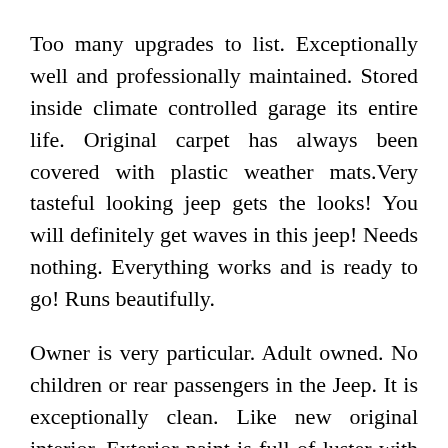Too many upgrades to list. Exceptionally well and professionally maintained. Stored inside climate controlled garage its entire life. Original carpet has always been covered with plastic weather mats.Very tasteful looking jeep gets the looks! You will definitely get waves in this jeep! Needs nothing. Everything works and is ready to go! Runs beautifully.
Owner is very particular. Adult owned. No children or rear passengers in the Jeep. It is exceptionally clean. Like new original interior. Exterior paint is full of luster with no fading. Soft top is supple and not dried out. Tinted windows. Cold air conditioner. Drives straight. Tires wear evenly. No mechanical issues. No fluid leaks.Easily tackle the Rubicon trail or Moab adventures or the Big Bear mountains or Anza